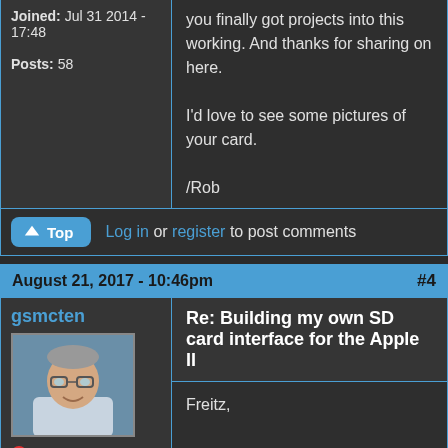Joined: Jul 31 2014 - 17:48
Posts: 58
you finally got projects into this working. And thanks for sharing on here.

I'd love to see some pictures of your card.

/Rob
Log in or register to post comments
August 21, 2017 - 10:46pm  #4
gsmcten
[Figure (photo): Profile photo of user gsmcten - older man with glasses]
Offline
Last seen: 4 years 1 month ago
Joined: Oct 4
Re: Building my own SD card interface for the Apple II
Freitz,

Are you planning on taking orders? And if so, how much would one cost?

Steven 😊